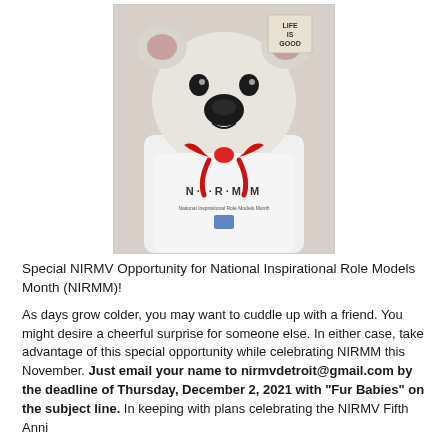[Figure (photo): A white stuffed teddy bear wearing a red ribbon bow and a white t-shirt with NIRMM logo. In the background a 'Life Is Good' sticker is visible.]
Special NIRMV Opportunity for National Inspirational Role Models Month (NIRMM)!
As days grow colder, you may want to cuddle up with a friend. You might desire a cheerful surprise for someone else. In either case, take advantage of this special opportunity while celebrating NIRMM this November. Just email your name to nirmvdetroit@gmail.com by the deadline of Thursday, December 2, 2021 with “Fur Babies” on the subject line. In keeping with plans celebrating the NIRMV Fifth Anni...